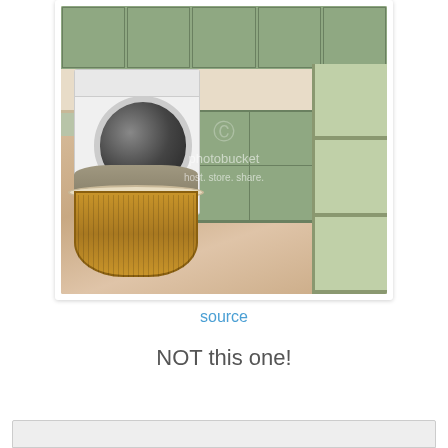[Figure (photo): Interior photo of a well-organized laundry room with sage green cabinets (upper and lower), a front-loading white washing machine, a wicker laundry basket filled with clothes on the floor, open shelving on the right side, and beige tile flooring. Photo has a Photobucket watermark reading 'host. store. share.']
source
NOT this one!